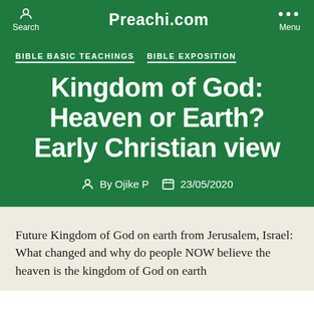Preachi.com
BIBLE BASIC TEACHINGS   BIBLE EXPOSITION
Kingdom of God: Heaven or Earth? Early Christian view
By Ojike P   23/05/2020
Future Kingdom of God on earth from Jerusalem, Israel: What changed and why do people NOW believe the heaven is the kingdom of God on earth